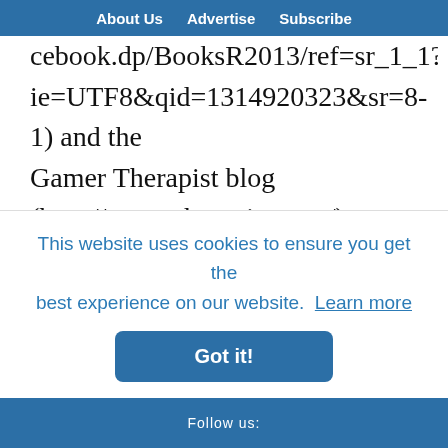About Us  Advertise  Subscribe
cebook.dp/BooksR2013/ref=sr_1_1?ie=UTF8&qid=1314920323&sr=8-1) and the Gamer Therapist blog (http://gamertherapist.com/). According to Mike, our clients have already integrated technology tools such as text messaging and social media into their lives. Like Nancy, he agrees that social workers need to better incorporate our clients'
This website uses cookies to ensure you get the best experience on our website. Learn more
Got it!
Follow us: